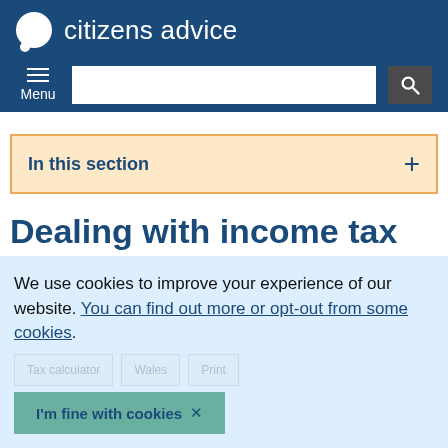citizens advice
In this section +
Dealing with income tax arrears
We use cookies to improve your experience of our website. You can find out more or opt-out from some cookies.
I'm fine with cookies ✕